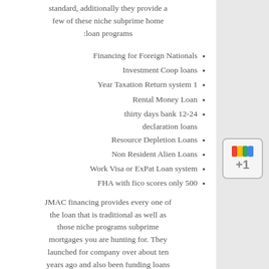standard, additionally they provide a few of these niche subprime home loan programs:
Financing for Foreign Nationals
Investment Coop loans
Year Taxation Return system 1
Rental Money Loan
thirty days bank 12-24 declaration loans
Resource Depletion Loans
Non Resident Alien Loans
Work Visa or ExPat Loan system
FHA with fico scores only 500
JMAC financing provides every one of the loan that is traditional as well as those niche programs subprime mortgages you are hunting for. They launched for company over about ten years ago and also been funding loans with a few of these innovative programs ever since then. A few of